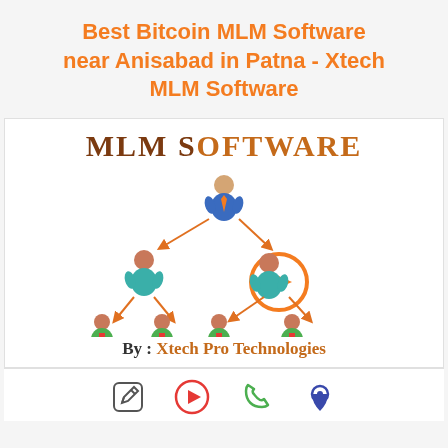Best Bitcoin MLM Software near Anisabad in Patna - Xtech MLM Software
[Figure (illustration): MLM Software promotional graphic showing a hierarchical network of people icons with 'MLM Software' text and 'By : Xtech Pro Technologies' branding. One node is highlighted with an orange play button circle.]
[Figure (infographic): Bottom bar with four icons: edit/pencil icon, play button icon, phone icon, and map pin/location icon]